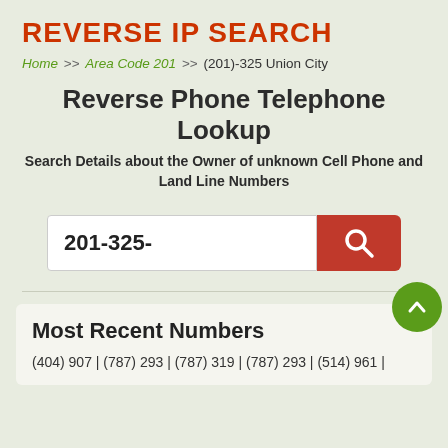REVERSE IP SEARCH
Home >> Area Code 201 >> (201)-325 Union City
Reverse Phone Telephone Lookup
Search Details about the Owner of unknown Cell Phone and Land Line Numbers
201-325-
Most Recent Numbers
(404) 907 | (787) 293 | (787) 319 | (787) 293 | (514) 961 |